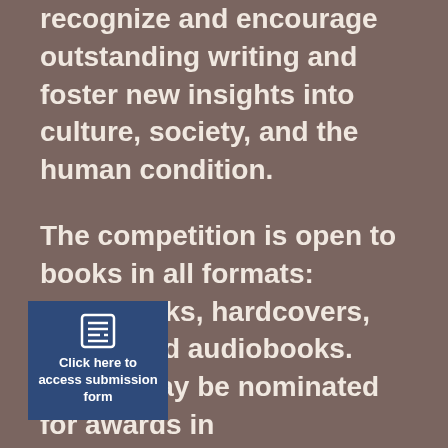recognize and encourage outstanding writing and foster new insights into culture, society, and the human condition.
The competition is open to books in all formats: paperbacks, hardcovers, digital and audiobooks. Books may be nominated for awards in multiple categories. However, a fee of $0.00 must accompany each submission
[Figure (other): Blue button/box with a form icon and text: Click here to access submission form]